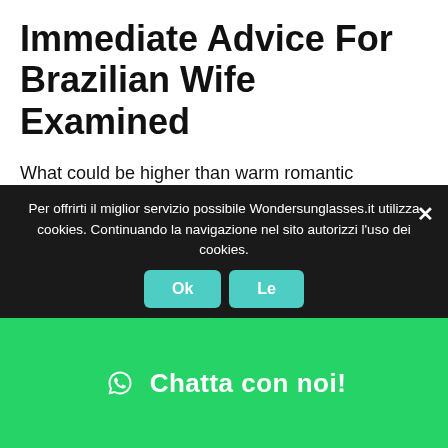Immediate Advice For Brazilian Wife Examined
What could be higher than warm romantic evenings collectively together with your wife? This warmth and sincere kindness are attainable and completely life like, particularly if your good partner is a Brazilian bride on the market. Displaying enthusiasm and deep affection to others is the subject material of their essence. For sure, that Brazilian residents are well-known for their generous and open gestures. They are going to all the time invite you in for a pleasant dialog or small discuss. That’s the reason the
Per offrirti il miglior servizio possibile Wondersunglasses.it utilizza cookies. Continuando la navigazione nel sito autorizzi l’uso dei cookies.
Ok
Le
Chatta con noi!